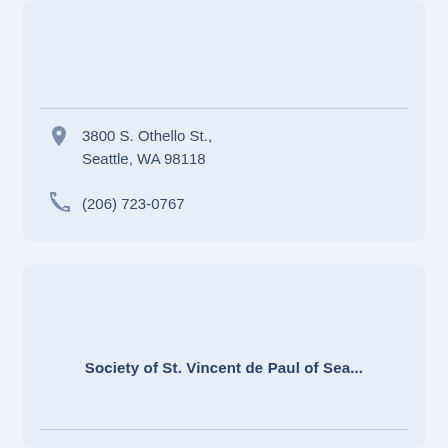3800 S. Othello St., Seattle, WA 98118
(206) 723-0767
Society of St. Vincent de Paul of Sea...